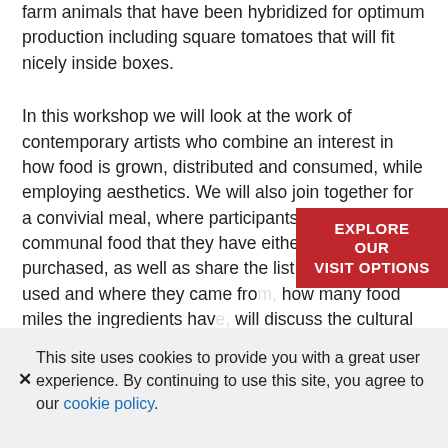farm animals that have been hybridized for optimum production including square tomatoes that will fit nicely inside boxes.
In this workshop we will look at the work of contemporary artists who combine an interest in how food is grown, distributed and consumed, while employing aesthetics. We will also join together for a convivial meal, where participants will contribute a communal food that they have either made or purchased, as well as share the list of ingredients used and where they came from, how many food miles the ingredients have, will discuss the cultural benefits of sourcing locally grown foods and the economic and social costs of importing
[Figure (other): Red button/banner overlay with white bold text reading EXPLORE OUR VISIT OPTIONS]
This site uses cookies to provide you with a great user experience. By continuing to use this site, you agree to our cookie policy.